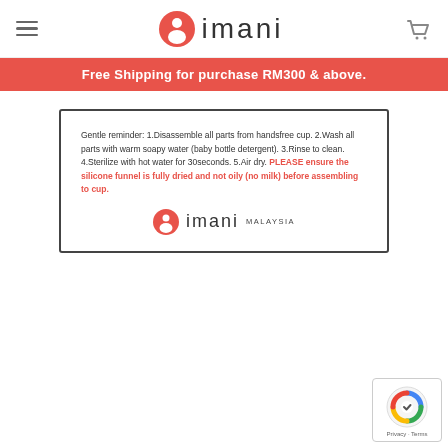imani (logo with hamburger menu and cart icon)
Free Shipping for purchase RM300 & above.
Gentle reminder: 1.Disassemble all parts from handsfree cup. 2.Wash all parts with warm soapy water (baby bottle detergent). 3.Rinse to clean. 4.Sterilize with hot water for 30seconds. 5.Air dry. PLEASE ensure the silicone funnel is fully dried and not oily (no milk) before assembling to cup.
[Figure (logo): imani MALAYSIA logo with red circular icon]
[Figure (logo): reCAPTCHA badge with Privacy and Terms text]